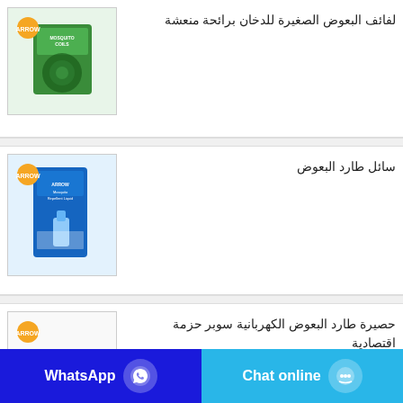[Figure (photo): Arrow brand Mosquito Coils green box product image with logo]
لفائف البعوض الصغيرة للدخان برائحة منعشة
[Figure (photo): Arrow brand Mosquito Repellent Liquid blue box product image with logo]
سائل طارد البعوض
[Figure (photo): Arrow brand electric mosquito repellent mat super economic pack product image with logo]
حصيرة طارد البعوض الكهربانية سوبر حزمة اقتصادية
Chat online
WhatsApp